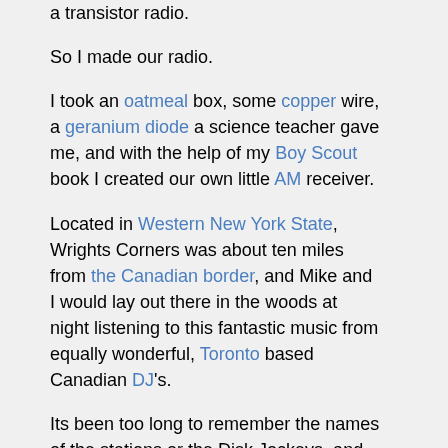a transistor radio.
So I made our radio.
I took an oatmeal box, some copper wire, a geranium diode a science teacher gave me, and with the help of my Boy Scout book I created our own little AM receiver.
Located in Western New York State, Wrights Corners was about ten miles from the Canadian border, and Mike and I would lay out there in the woods at night listening to this fantastic music from equally wonderful, Toronto based Canadian DJ's.
Its been too long to remember the names of the stations or the Disk Jockeys, and they aren't the